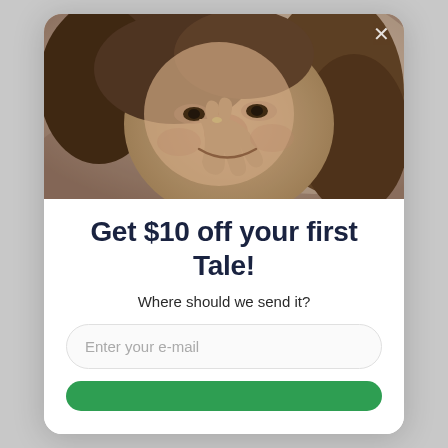[Figure (photo): Sepia-toned vintage photo of a smiling woman with wavy hair, hand near her face, close-up portrait]
Get $10 off your first Tale!
Where should we send it?
Enter your e-mail